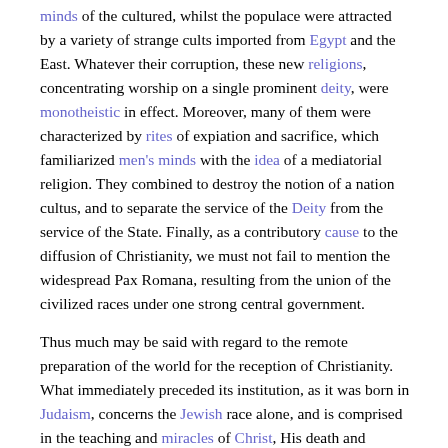minds of the cultured, whilst the populace were attracted by a variety of strange cults imported from Egypt and the East. Whatever their corruption, these new religions, concentrating worship on a single prominent deity, were monotheistic in effect. Moreover, many of them were characterized by rites of expiation and sacrifice, which familiarized men's minds with the idea of a mediatorial religion. They combined to destroy the notion of a nation cultus, and to separate the service of the Deity from the service of the State. Finally, as a contributory cause to the diffusion of Christianity, we must not fail to mention the widespread Pax Romana, resulting from the union of the civilized races under one strong central government.
Thus much may be said with regard to the remote preparation of the world for the reception of Christianity. What immediately preceded its institution, as it was born in Judaism, concerns the Jewish race alone, and is comprised in the teaching and miracles of Christ, His death and resurrection, and the mission of the Holy Spirit.